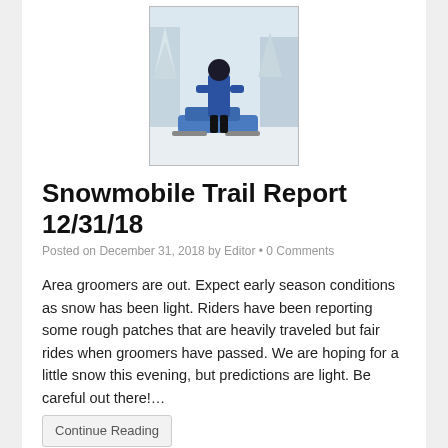[Figure (photo): Person in blue jacket standing next to a blue snowmobile on a snowy trail with snow-covered trees in the background]
Snowmobile Trail Report 12/31/18
Posted on December 31, 2018 by Editor • 0 Comments
Area groomers are out. Expect early season conditions as snow has been light. Riders have been reporting some rough patches that are heavily traveled but fair rides when groomers have passed. We are hoping for a little snow this evening, but predictions are light. Be careful out there!…
Continue Reading
Filed Under: Area Information, News, Reports